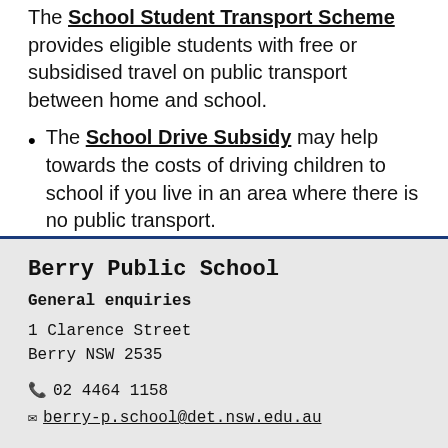The School Student Transport Scheme provides eligible students with free or subsidised travel on public transport between home and school.
The School Drive Subsidy may help towards the costs of driving children to school if you live in an area where there is no public transport.
Berry Public School
General enquiries
1 Clarence Street
Berry NSW 2535
02 4464 1158
berry-p.school@det.nsw.edu.au